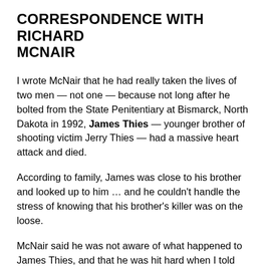CORRESPONDENCE WITH RICHARD MCNAIR
I wrote McNair that he had really taken the lives of two men — not one — because not long after he bolted from the State Penitentiary at Bismarck, North Dakota in 1992, James Thies — younger brother of shooting victim Jerry Thies — had a massive heart attack and died.
According to family, James was close to his brother and looked up to him … and he couldn't handle the stress of knowing that his brother's killer was on the loose.
McNair said he was not aware of what happened to James Thies, and that he was hit hard when I told him about it. According to McNair, he keeps my letter under his mat